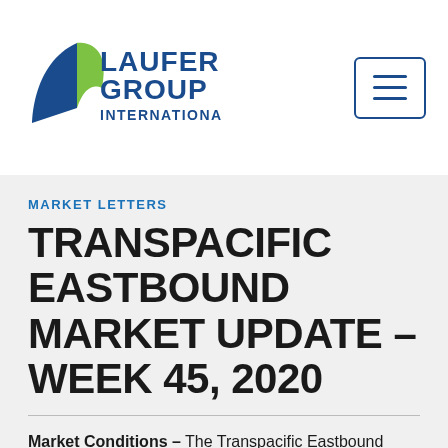Laufer Group International
MARKET LETTERS
TRANSPACIFIC EASTBOUND MARKET UPDATE – WEEK 45, 2020
Market Conditions – The Transpacific Eastbound trade continues to hum along with import demand remaining very strong.  Ocean carriers report